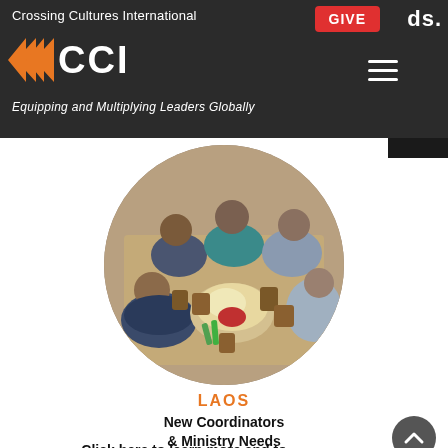Crossing Cultures International
GIVE
ds.
[Figure (logo): CCI logo with orange double chevron arrows and white CCI text on dark background]
Equipping and Multiplying Leaders Globally
[Figure (photo): Group of people sitting cross-legged on a woven mat in a circle around food and wicker containers, sharing a meal together, cropped in a circle]
LAOS
New Coordinators & Ministry Needs
Click here to learn more and to